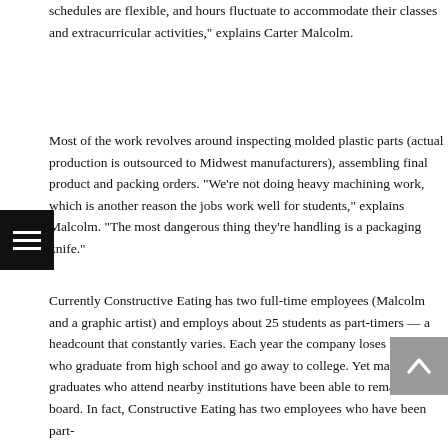schedules are flexible, and hours fluctuate to accommodate their classes and extracurricular activities," explains Carter Malcolm.
Most of the work revolves around inspecting molded plastic parts (actual production is outsourced to Midwest manufacturers), assembling final product and packing orders. "We're not doing heavy machining work, which is another reason the jobs work well for students," explains Malcolm. "The most dangerous thing they're handling is a packaging knife."
Currently Constructive Eating has two full-time employees (Malcolm and a graphic artist) and employs about 25 students as part-timers — a headcount that constantly varies. Each year the company loses workers who graduate from high school and go away to college. Yet many graduates who attend nearby institutions have been able to remain on board. In fact, Constructive Eating has two employees who have been part-